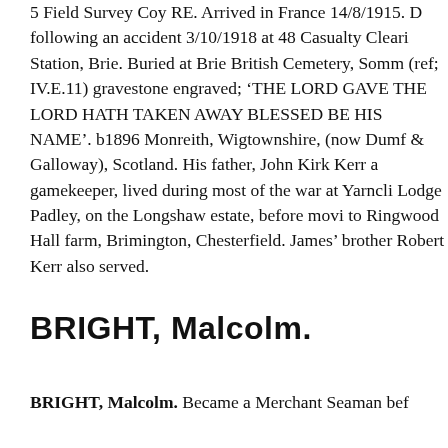5 Field Survey Coy RE. Arrived in France 14/8/1915. D following an accident 3/10/1918 at 48 Casualty Cleari Station, Brie. Buried at Brie British Cemetery, Somm (ref; IV.E.11) gravestone engraved; ‘THE LORD GAVE THE LORD HATH TAKEN AWAY BLESSED BE HIS NAME’. b1896 Monreith, Wigtownshire, (now Dumf & Galloway), Scotland. His father, John Kirk Kerr a gamekeeper, lived during most of the war at Yarncli Lodge Padley, on the Longshaw estate, before movi to Ringwood Hall farm, Brimington, Chesterfield. James’ brother Robert Kerr also served.
BRIGHT, Malcolm.
BRIGHT, Malcolm. Became a Merchant Seaman bef